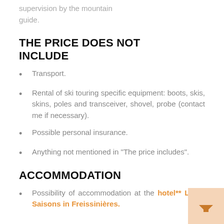supervision by the mountain guide.
THE PRICE DOES NOT INCLUDE
Transport.
Rental of ski touring specific equipment: boots, skis, skins, poles and transceiver, shovel, probe (contact me if necessary).
Possible personal insurance.
Anything not mentioned in "The price includes".
ACCOMMODATION
Possibility of accommodation at the hotel** Les 5 Saisons in Freissinières.